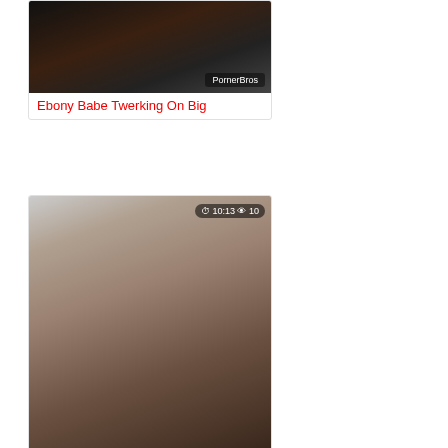[Figure (screenshot): Video thumbnail for 'Ebony Babe Twerking On Big' with PornerBros watermark]
Ebony Babe Twerking On Big
[Figure (screenshot): Video thumbnail for 'Massage with GOOEY' with duration 10:13 and 10 views, PornerBros watermark]
Massage with GOOEY
[Figure (screenshot): Video thumbnail for 'Private.com Naughty brunette' with duration 10:16 and 9 views, PornerBros watermark]
Private.com Naughty brunette